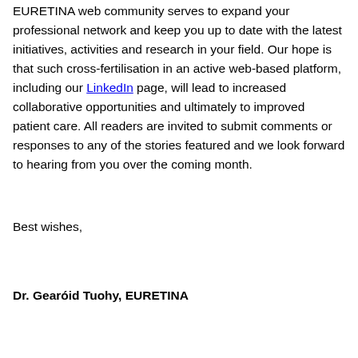EURETINA web community serves to expand your professional network and keep you up to date with the latest initiatives, activities and research in your field. Our hope is that such cross-fertilisation in an active web-based platform, including our LinkedIn page, will lead to increased collaborative opportunities and ultimately to improved patient care. All readers are invited to submit comments or responses to any of the stories featured and we look forward to hearing from you over the coming month.
Best wishes,
Dr. Gearóid Tuohy, EURETINA